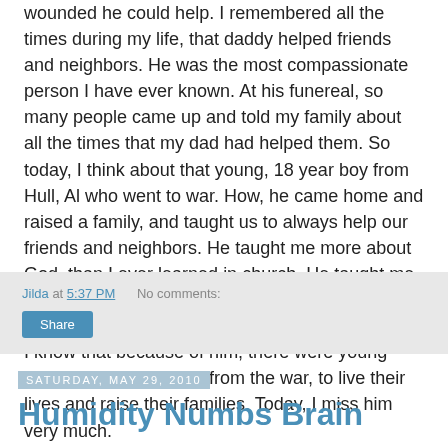wounded he could help. I remembered all the times during my life, that daddy helped friends and neighbors. He was the most compassionate person I have ever known. At his funereal, so many people came up and told my family about all the times that my dad had helped them. So today, I think about that young, 18 year boy from Hull, Al who went to war. How, he came home and raised a family, and taught us to always help our friends and neighbors. He taught me more about God, than I ever learned in church. He taught me to see goodness and grace in all people, no matter the color of their skin or their station in life. I know that because of him, there were young men who made it back from the war, to live their lives and raise their families. Today, I miss him very much.
Jilda at 5:37 PM    No comments:
Share
Saturday, May 29, 2010
Humidity Numbs Brain